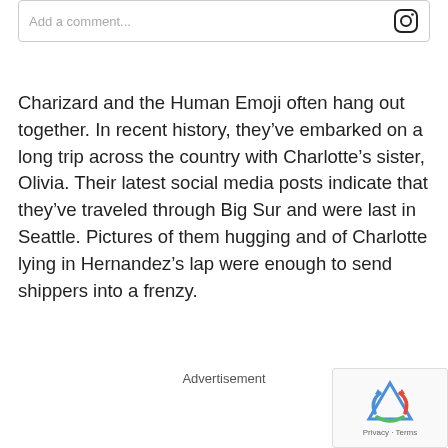[Figure (screenshot): Comment input box with Instagram icon on the right]
Charizard and the Human Emoji often hang out together. In recent history, they’ve embarked on a long trip across the country with Charlotte’s sister, Olivia. Their latest social media posts indicate that they’ve traveled through Big Sur and were last in Seattle. Pictures of them hugging and of Charlotte lying in Hernandez’s lap were enough to send shippers into a frenzy.
Advertisement
[Figure (logo): reCAPTCHA logo with Privacy and Terms text]